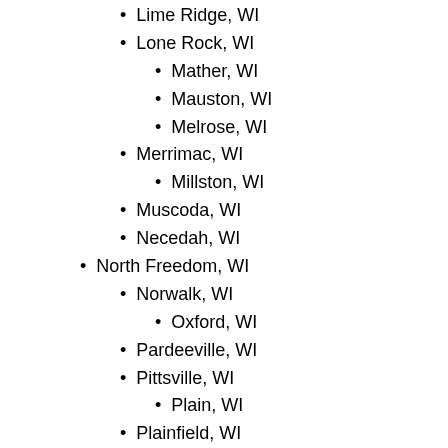Lime Ridge, WI
Lone Rock, WI
Mather, WI
Mauston, WI
Melrose, WI
Merrimac, WI
Millston, WI
Muscoda, WI
Necedah, WI
North Freedom, WI
Norwalk, WI
Oxford, WI
Pardeeville, WI
Pittsville, WI
Plain, WI
Plainfield, WI
Portage, WI
Prairie Du Sac, WI
Rock Springs, WI
Rockland, WI
Rudolph, WI
Soldiers Grove, WI